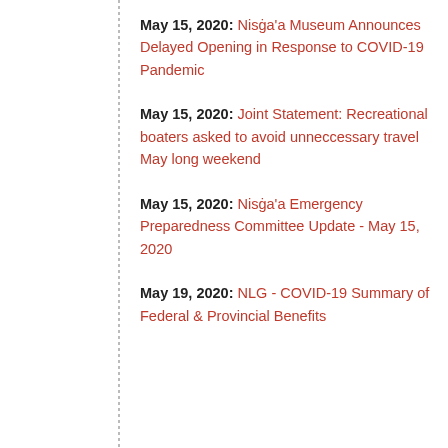May 15, 2020: Nisġa'a Museum Announces Delayed Opening in Response to COVID-19 Pandemic
May 15, 2020: Joint Statement: Recreational boaters asked to avoid unneccessary travel May long weekend
May 15, 2020: Nisġa'a Emergency Preparedness Committee Update - May 15, 2020
May 19, 2020: NLG - COVID-19 Summary of Federal & Provincial Benefits